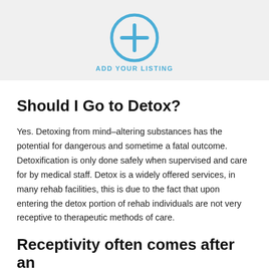[Figure (illustration): A circle with a plus sign icon in blue outline, with 'ADD YOUR LISTING' text below in blue uppercase letters, on a light gray background.]
Should I Go to Detox?
Yes. Detoxing from mind-altering substances has the potential for dangerous and sometime a fatal outcome. Detoxification is only done safely when supervised and care for by medical staff. Detox is a widely offered services, in many rehab facilities, this is due to the fact that upon entering the detox portion of rehab individuals are not very receptive to therapeutic methods of care.
Receptivity often comes after an